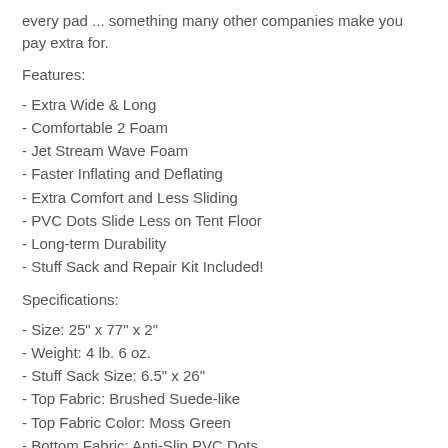every pad ... something many other companies make you pay extra for.
Features:
- Extra Wide & Long
- Comfortable 2 Foam
- Jet Stream Wave Foam
- Faster Inflating and Deflating
- Extra Comfort and Less Sliding
- PVC Dots Slide Less on Tent Floor
- Long-term Durability
- Stuff Sack and Repair Kit Included!
Specifications:
- Size: 25" x 77" x 2"
- Weight: 4 lb. 6 oz.
- Stuff Sack Size: 6.5" x 26"
- Top Fabric: Brushed Suede-like
- Top Fabric Color: Moss Green
- Bottom Fabric: Anti-Slip PVC Dots
- Bottom Fabric Color: Black
- Valves: Non-corrosive Brass